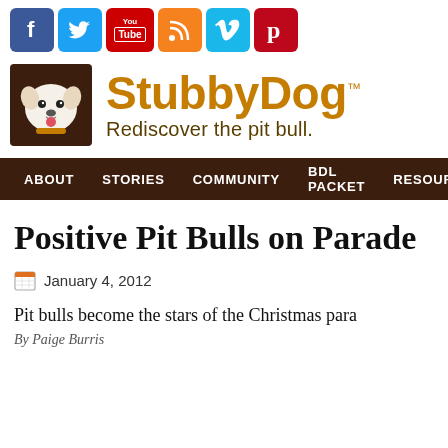[Figure (other): Social media icons row: Facebook (blue f), Twitter (blue bird), YouTube (red), RSS (orange), Vimeo (light blue V), Pinterest (red P)]
[Figure (logo): StubbyDog logo: brown square with white cartoon pit bull dog face on left, orange bold text 'StubbyDog' with TM superscript, brown tagline 'Rediscover the pit bull.' below]
ABOUT   STORIES   COMMUNITY   BDL PACKET   RESOURCES
Positive Pit Bulls on Parade
January 4, 2012
Pit bulls become the stars of the Christmas para
By Paige Burris